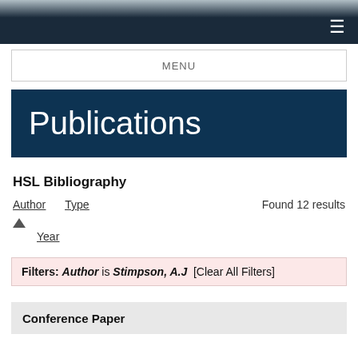MENU
Publications
HSL Bibliography
Author   Type   Found 12 results
▲
    Year
Filters: Author is Stimpson, A.J  [Clear All Filters]
Conference Paper